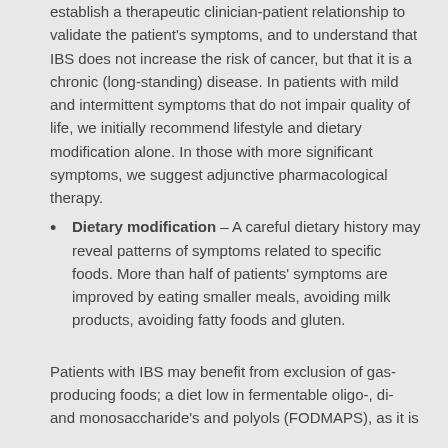establish a therapeutic clinician-patient relationship to validate the patient's symptoms, and to understand that IBS does not increase the risk of cancer, but that it is a chronic (long-standing) disease. In patients with mild and intermittent symptoms that do not impair quality of life, we initially recommend lifestyle and dietary modification alone. In those with more significant symptoms, we suggest adjunctive pharmacological therapy.
Dietary modification – A careful dietary history may reveal patterns of symptoms related to specific foods. More than half of patients' symptoms are improved by eating smaller meals, avoiding milk products, avoiding fatty foods and gluten.
Patients with IBS may benefit from exclusion of gas-producing foods; a diet low in fermentable oligo-, di- and monosaccharide's and polyols (FODMAPS), as it is